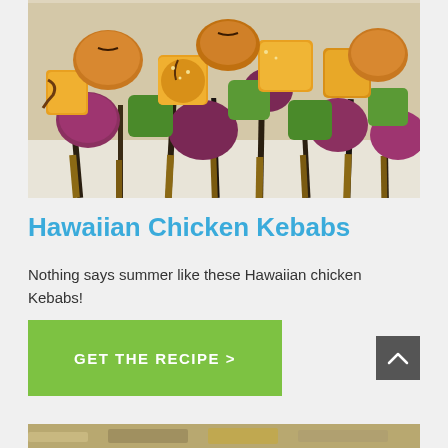[Figure (photo): Close-up photo of Hawaiian chicken kebabs with grilled chicken, pineapple, green peppers, and red onion on skewers arranged on a white plate]
Hawaiian Chicken Kebabs
Nothing says summer like these Hawaiian chicken Kebabs!
GET THE RECIPE >
[Figure (photo): Partial view of another food photo at the bottom of the page]